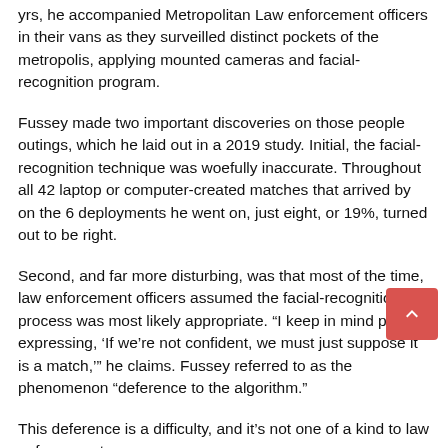yrs, he accompanied Metropolitan Law enforcement officers in their vans as they surveilled distinct pockets of the metropolis, applying mounted cameras and facial-recognition program.
Fussey made two important discoveries on those people outings, which he laid out in a 2019 study. Initial, the facial-recognition technique was woefully inaccurate. Throughout all 42 laptop or computer-created matches that arrived by on the 6 deployments he went on, just eight, or 19%, turned out to be right.
Second, and far more disturbing, was that most of the time, law enforcement officers assumed the facial-recognition process was most likely appropriate. “I keep in mind people expressing, ‘If we’re not confident, we must just suppose it is a match,’” he claims. Fussey referred to as the phenomenon “deference to the algorithm.”
This deference is a difficulty, and it’s not one of a kind to law enforcement.
In education and learning, ProctorU sells program that